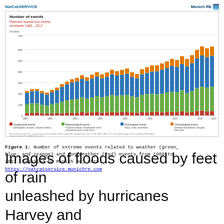NatCatSERVICE | Munich RE
[Figure (stacked-bar-chart): Stacked bar chart showing number of geophysical (red), meteorological (green), hydrological (blue), and climatological (orange) natural loss events worldwide from 1980 to 2017, with an overall upward trend over time. Values range from roughly 200 in 1980 to over 700 in 2017.]
Figure 1: Number of extreme events related to weather (green, blue, and orange) and non-weather (red) events from 1980 to 2017. Compiled by Munich Re, 2018: https://natcatservice.munichre.com
Images of floods caused by feet of rain unleashed by hurricanes Harvey and